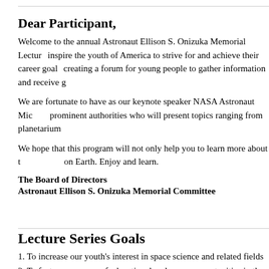Dear Participant,
Welcome to the annual Astronaut Ellison S. Onizuka Memorial Lecture Series designed to inspire the youth of America to strive for and achieve their career goals by creating a forum for young people to gather information and receive guidance.
We are fortunate to have as our keynote speaker NASA Astronaut Michael Lopez-Alegria and prominent authorities who will present topics ranging from planetarium to space exploration.
We hope that this program will not only help you to learn more about the universe but also life on Earth. Enjoy and learn.
The Board of Directors
Astronaut Ellison S. Onizuka Memorial Committee
Lecture Series Goals
1. To increase our youth's interest in space science and related fields
2. To foster awareness of educational and career opportunities in the